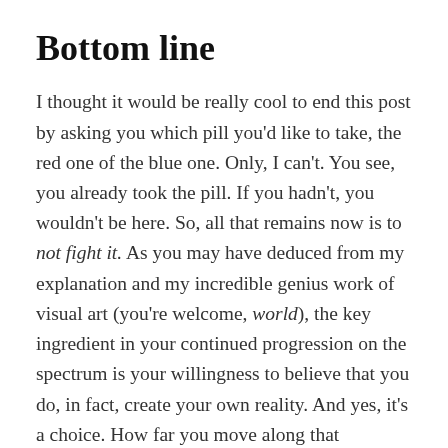Bottom line
I thought it would be really cool to end this post by asking you which pill you'd like to take, the red one of the blue one. Only, I can't. You see, you already took the pill. If you hadn't, you wouldn't be here. So, all that remains now is to not fight it. As you may have deduced from my explanation and my incredible genius work of visual art (you're welcome, world), the key ingredient in your continued progression on the spectrum is your willingness to believe that you do, in fact, create your own reality. And yes, it's a choice. How far you move along that spectrum is really dependent on how MUCH you're willing to believe it. But you can't get to